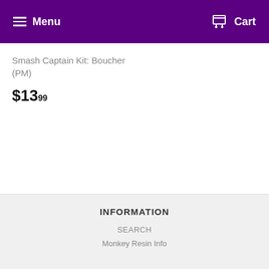Menu  Cart
Smash Captain Kit: Boucher (PM)
$13.99
INFORMATION
SEARCH
Monkey Resin Info